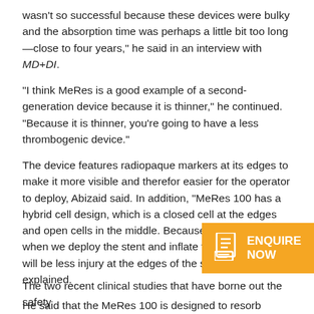wasn't so successful because these devices were bulky and the absorption time was perhaps a little bit too long—close to four years," he said in an interview with MD+DI.
"I think MeRes is a good example of a second-generation device because it is thinner," he continued. "Because it is thinner, you're going to have a less thrombogenic device."
The device features radiopaque markers at its edges to make it more visible and therefor easier for the operator to deploy, Abizaid said. In addition, "MeRes 100 has a hybrid cell design, which is a closed cell at the edges and open cells in the middle. Because of the design, when we deploy the stent and inflate the balloon, there will be less injury at the edges of the stent," he explained.
He said that the MeRes 100 is designed to resorb naturally within two to three years, compared with the alm required by first-generation devices.
The two recent clinical studies that have borne out the safety and efficacy of the MeRes 100 are the MeRes-First-in-